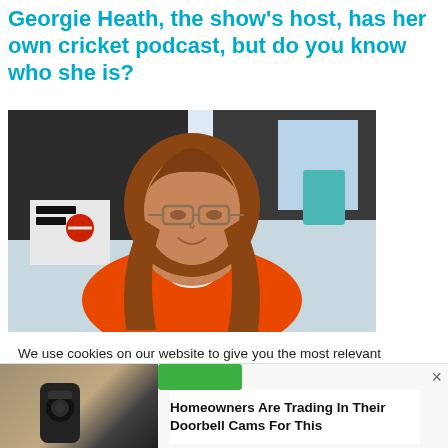Georgie Heath, the show's host, has her own cricket podcast, but do you know who she is?
[Figure (photo): Photo of Georgie Heath, a woman with long wavy brown hair wearing glasses and an orange sweatshirt, standing in front of a window/indoor background.]
We use cookies on our website to give you the most relevant experience by remembering your preferences and repeat visits. By clicking "Accept All", you consent to the use of ALL the cookies. However, you may visit "Cookie Settings" to provide a controlled consent.
[Figure (photo): Bottom advertisement banner showing a thumbnail image on the left (outdoor fixture/doorbell cam) and a green accept button, with ad text: Homeowners Are Trading In Their Doorbell Cams For This]